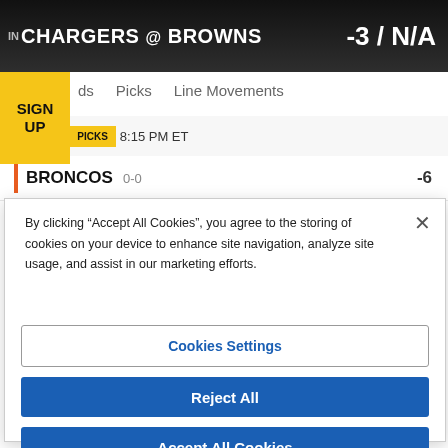IN CHARGERS @ BROWNS -3 / N/A
ds   Picks   Line Movements
SIGN UP
ISESODDS  PICKS 8:15 PM ET
BRONCOS 0-0   -6
By clicking “Accept All Cookies”, you agree to the storing of cookies on your device to enhance site navigation, analyze site usage, and assist in our marketing efforts.
Cookies Settings
Reject All
Accept All Cookies